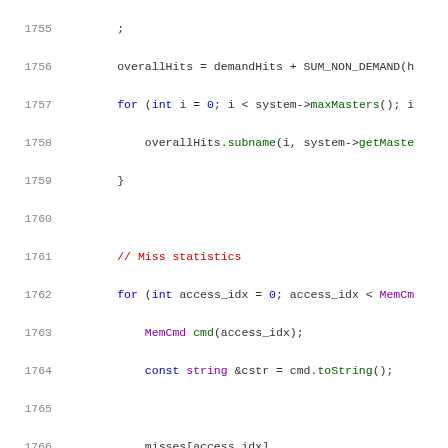[Figure (screenshot): Source code listing lines 1755-1775 showing C++ code for hit and miss statistics with syntax highlighting. Line numbers in gray on left, keywords in blue, comments in red, types in purple, strings in orange.]